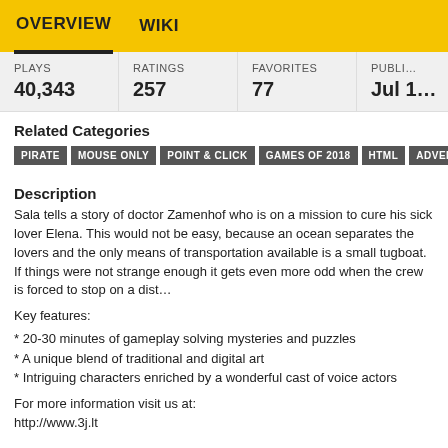OVERVIEW  WIKI
| PLAYS | RATINGS | FAVORITES | PUBLI… |
| --- | --- | --- | --- |
| 40,343 | 257 | 77 | Jul 1… |
Related Categories
PIRATE  MOUSE ONLY  POINT & CLICK  GAMES OF 2018  HTML  ADVENTU…
Description
Sala tells a story of doctor Zamenhof who is on a mission to cure his sick lover Elena. This would not be easy, because an ocean separates the lovers and the only means of transportation available is a small tugboat. If things were not strange enough it gets even more odd when the crew is forced to stop on a dist…
Key features:
* 20-30 minutes of gameplay solving mysteries and puzzles
* A unique blend of traditional and digital art
* Intriguing characters enriched by a wonderful cast of voice actors
For more information visit us at:
http://www.3j.lt